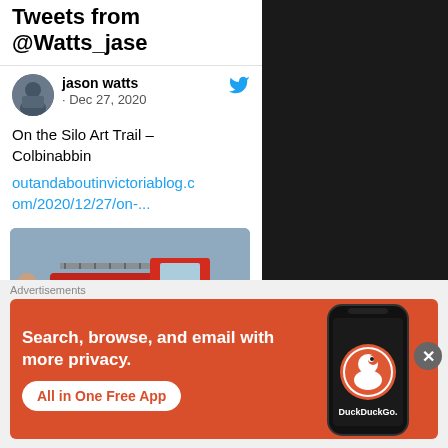Tweets from @Watts_jase
jason watts · Dec 27, 2020
On the Silo Art Trail – Colbinabbin outandaboutinvictoriablog.com/2020/12/27/on-...
[Figure (photo): Mural painting of a vintage red fire engine (Country Fire Authority) with people standing beside it]
Advertisements
[Figure (screenshot): DuckDuckGo advertisement banner: Search, browse, and email with more privacy. All in One Free App. Shows DuckDuckGo logo on a smartphone.]